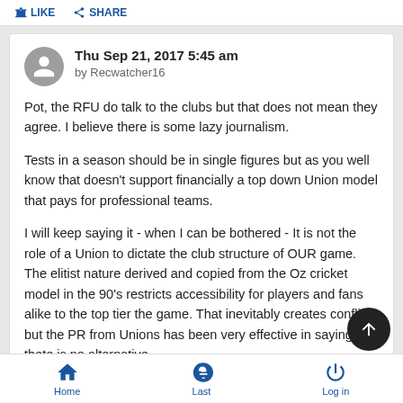Like | Share
Thu Sep 21, 2017 5:45 am
by Recwatcher16
Pot, the RFU do talk to the clubs but that does not mean they agree. I believe there is some lazy journalism.

Tests in a season should be in single figures but as you well know that doesn't support financially a top down Union model that pays for professional teams.

I will keep saying it - when I can be bothered - It is not the role of a Union to dictate the club structure of OUR game. The elitist nature derived and copied from the Oz cricket model in the 90's restricts accessibility for players and fans alike to the top tier the game. That inevitably creates conflicts but the PR from Unions has been very effective in saying thete is no alternative
Home | Last | Log in